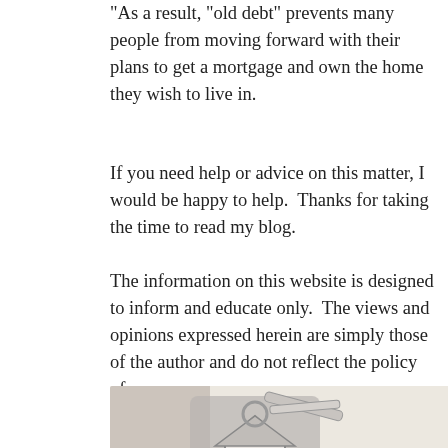"As a result, "old debt" prevents many people from moving forward with their plans to get a mortgage and own the home they wish to live in.
If you need help or advice on this matter, I would be happy to help.  Thanks for taking the time to read my blog.
The information on this website is designed to inform and educate only.  The views and opinions expressed herein are simply those of the author and do not reflect the policy of my company.
[Figure (photo): Photo of house-shaped keychain with keys resting on a mortgage document stamped 'APPROVED', with text 'Mortgages' and 'Your Mortgage Appl' visible on the paper.]